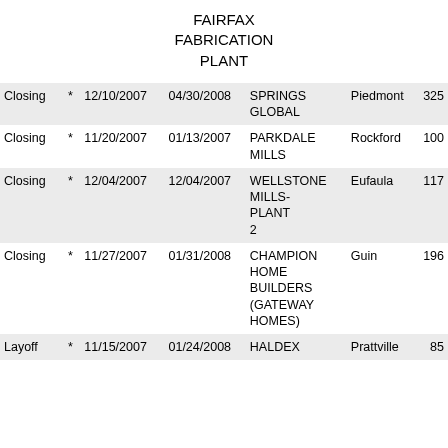FAIRFAX FABRICATION PLANT
| Type |  | Date1 | Date2 | Company | City | Count |
| --- | --- | --- | --- | --- | --- | --- |
| Closing | * | 12/10/2007 | 04/30/2008 | SPRINGS GLOBAL | Piedmont | 325 |
| Closing | * | 11/20/2007 | 01/13/2007 | PARKDALE MILLS | Rockford | 100 |
| Closing | * | 12/04/2007 | 12/04/2007 | WELLSTONE MILLS- PLANT 2 | Eufaula | 117 |
| Closing | * | 11/27/2007 | 01/31/2008 | CHAMPION HOME BUILDERS (GATEWAY HOMES) | Guin | 196 |
| Layoff | * | 11/15/2007 | 01/24/2008 | HALDEX | Prattville | 85 |